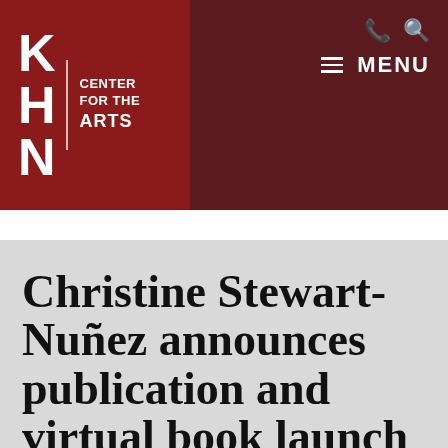KHN Center for the Arts
Christine Stewart-Nuñez announces publication and virtual book launch for her new title of f